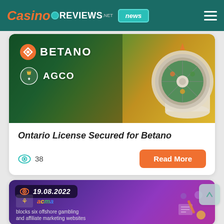CasinoReviews.net news
[Figure (screenshot): Betano and AGCO logos on a green-gold gradient background with a roulette wheel illustration]
Ontario License Secured for Betano
38 views
Read More
[Figure (screenshot): 19.08.2022 dated card with Australian government and ACMA logos, text: blocks six offshore gambling and affiliate marketing websites, purple gradient background]